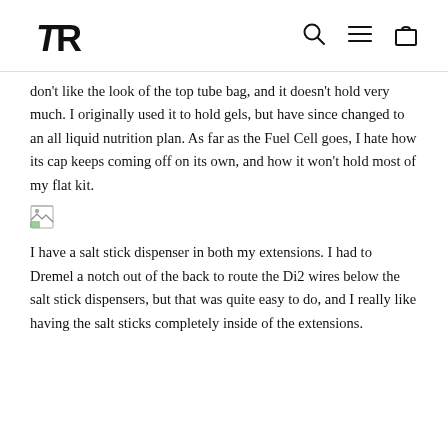TR logo with search, menu, and cart icons
don't like the look of the top tube bag, and it doesn't hold very much. I originally used it to hold gels, but have since changed to an all liquid nutrition plan. As far as the Fuel Cell goes, I hate how its cap keeps coming off on its own, and how it won't hold most of my flat kit.
[Figure (photo): Small broken/placeholder image icon]
I have a salt stick dispenser in both my extensions. I had to Dremel a notch out of the back to route the Di2 wires below the salt stick dispensers, but that was quite easy to do, and I really like having the salt sticks completely inside of the extensions.